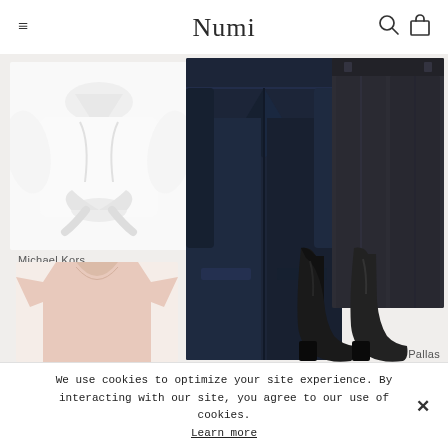Numi
[Figure (photo): Fashion e-commerce page showing multiple clothing items: white tie-front blouse (Michael Kors), pink V-neck t-shirt, navy long coat, black straight-leg trousers (Pallas), and black ankle boots arranged on a light background.]
Michael Kors
Pallas
We use cookies to optimize your site experience. By interacting with our site, you agree to our use of cookies. Learn more